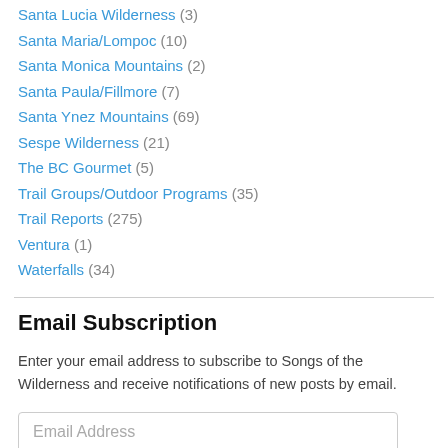Santa Lucia Wilderness (3)
Santa Maria/Lompoc (10)
Santa Monica Mountains (2)
Santa Paula/Fillmore (7)
Santa Ynez Mountains (69)
Sespe Wilderness (21)
The BC Gourmet (5)
Trail Groups/Outdoor Programs (35)
Trail Reports (275)
Ventura (1)
Waterfalls (34)
Email Subscription
Enter your email address to subscribe to Songs of the Wilderness and receive notifications of new posts by email.